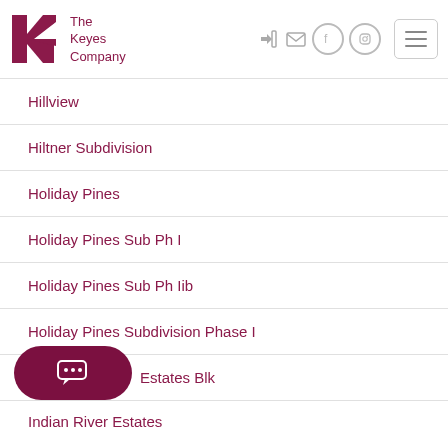The Keyes Company
Hillview
Hiltner Subdivision
Holiday Pines
Holiday Pines Sub Ph I
Holiday Pines Sub Ph Iib
Holiday Pines Subdivision Phase I
...Estates Blk
Indian River Estates